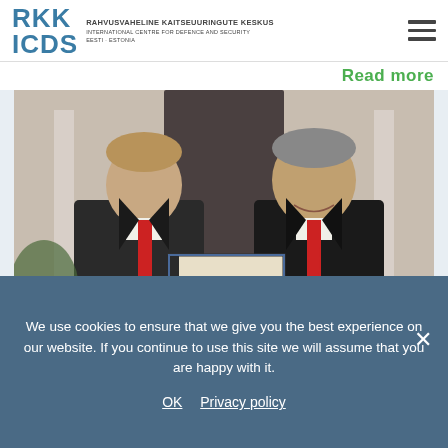RKK ICDS — RAHVUSVAHELINE KAITSEUURINGUTE KESKUS / INTERNATIONAL CENTRE FOR DEFENCE AND SECURITY / EESTI · ESTONIA
Read more
[Figure (photo): Two men in dark suits holding a signed document together, smiling. One wears a red tie, the other wears a red tie as well.]
We use cookies to ensure that we give you the best experience on our website. If you continue to use this site we will assume that you are happy with it.
OK   Privacy policy